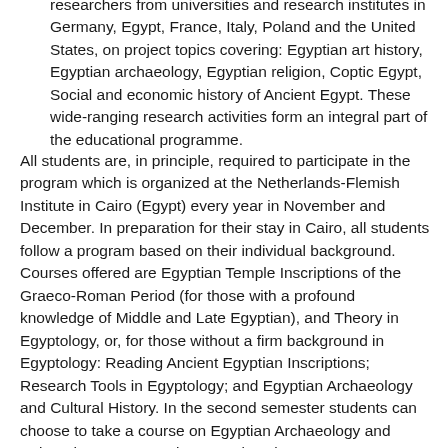researchers from universities and research institutes in Germany, Egypt, France, Italy, Poland and the United States, on project topics covering: Egyptian art history, Egyptian archaeology, Egyptian religion, Coptic Egypt, Social and economic history of Ancient Egypt. These wide-ranging research activities form an integral part of the educational programme.
All students are, in principle, required to participate in the program which is organized at the Netherlands-Flemish Institute in Cairo (Egypt) every year in November and December. In preparation for their stay in Cairo, all students follow a program based on their individual background. Courses offered are Egyptian Temple Inscriptions of the Graeco-Roman Period (for those with a profound knowledge of Middle and Late Egyptian), and Theory in Egyptology, or, for those without a firm background in Egyptology: Reading Ancient Egyptian Inscriptions; Research Tools in Egyptology; and Egyptian Archaeology and Cultural History. In the second semester students can choose to take a course on Egyptian Archaeology and Epigraphy or a course in Papyrology in one